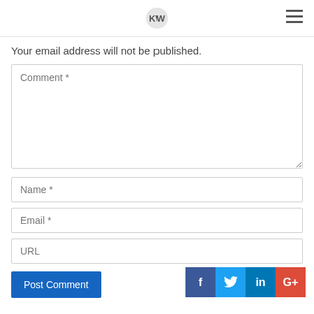Your email address will not be published.
[Figure (screenshot): Web comment form with Comment, Name, Email, URL fields, Post Comment button, and social share icons (Facebook, Twitter, LinkedIn, Google+)]